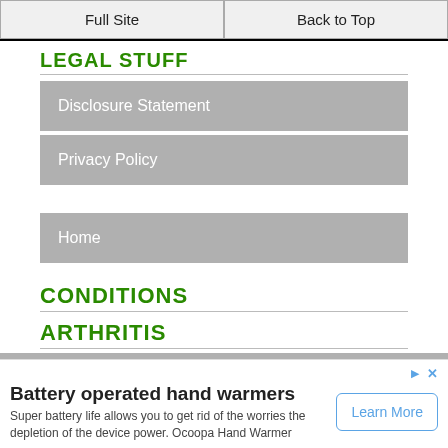Full Site | Back to Top
LEGAL STUFF
Disclosure Statement
Privacy Policy
Home
CONDITIONS
ARTHRITIS
ifferent Types of
Battery operated hand warmers
Super battery life allows you to get rid of the worries the depletion of the device power. Ocoopa Hand Warmer